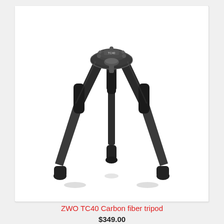[Figure (photo): ZWO TC40 Carbon fiber tripod product photo on white background. The tripod has three carbon fiber legs with foam grip sections in the upper portion, splayed outward. The legs connect at a central hub at the top labeled TC40. A center column extends downward from the hub. Each leg has a rubberized foot at the bottom. The tripod is shown without a head, photographed from a slightly elevated angle.]
ZWO TC40 Carbon fiber tripod
$349.00